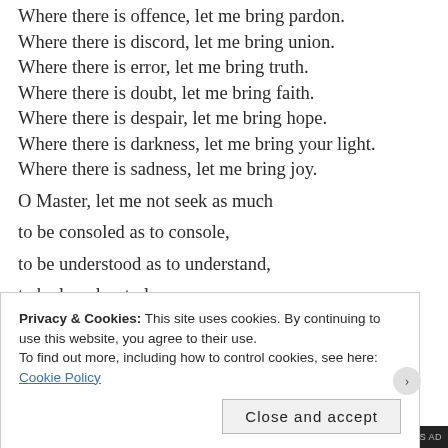Where there is offence, let me bring pardon.
Where there is discord, let me bring union.
Where there is error, let me bring truth.
Where there is doubt, let me bring faith.
Where there is despair, let me bring hope.
Where there is darkness, let me bring your light.
Where there is sadness, let me bring joy.
O Master, let me not seek as much
to be consoled as to console,
to be understood as to understand,
to be loved as to love,
for it is in giving that one receives
Privacy & Cookies: This site uses cookies. By continuing to use this website, you agree to their use.
To find out more, including how to control cookies, see here:
Cookie Policy
Close and accept